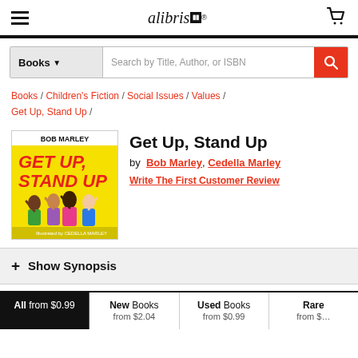alibris — navigation header with hamburger menu, alibris logo, and cart icon
Search by Title, Author, or ISBN — Books category search bar
Books / Children's Fiction / Social Issues / Values / Get Up, Stand Up /
Get Up, Stand Up
by Bob Marley, Cedella Marley
Write The First Customer Review
[Figure (illustration): Book cover of 'Get Up, Stand Up' featuring BOB MARLEY at top, large bold red text 'GET UP, STAND UP' on yellow background with cartoon children raising their hands. Credits for Cedella Marley and other illustrators at the bottom.]
+ Show Synopsis
All from $0.99  |  New Books from $2.04  |  Used Books from $0.99  |  Rare from ...